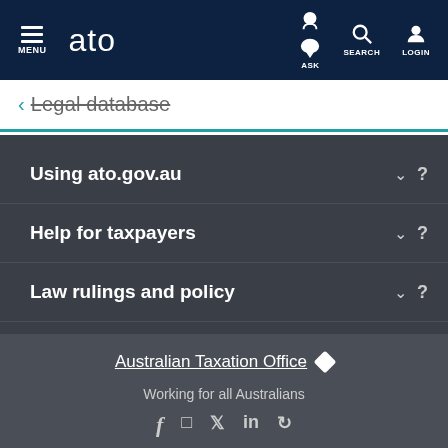MENU | ato | ASK | SEARCH | LOGIN
← Legal database
Using ato.gov.au
Help for taxpayers
Law rulings and policy
Getting it right
Australian Taxation Office
Working for all Australians